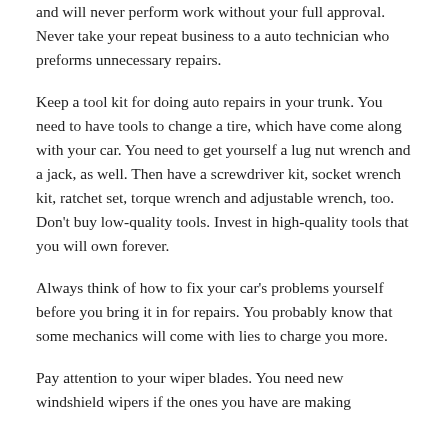and will never perform work without your full approval. Never take your repeat business to a auto technician who preforms unnecessary repairs.
Keep a tool kit for doing auto repairs in your trunk. You need to have tools to change a tire, which have come along with your car. You need to get yourself a lug nut wrench and a jack, as well. Then have a screwdriver kit, socket wrench kit, ratchet set, torque wrench and adjustable wrench, too. Don't buy low-quality tools. Invest in high-quality tools that you will own forever.
Always think of how to fix your car's problems yourself before you bring it in for repairs. You probably know that some mechanics will come with lies to charge you more.
Pay attention to your wiper blades. You need new windshield wipers if the ones you have are making